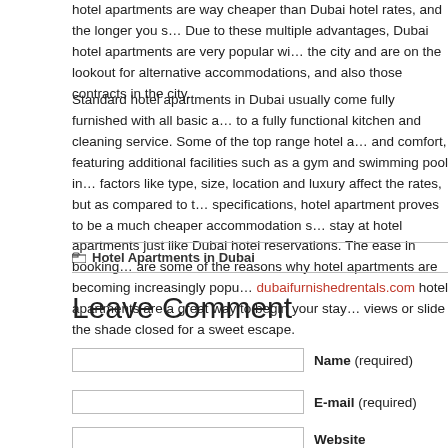hotel apartments are way cheaper than Dubai hotel rates, and the longer you s… Due to these multiple advantages, Dubai hotel apartments are very popular wi… the city and are on the lookout for alternative accommodations, and also those contracts in the city.
Standard hotel apartments in Dubai usually come fully furnished with all basic a… to a fully functional kitchen and cleaning service. Some of the top range hotel a… and comfort, featuring additional facilities such as a gym and swimming pool in… factors like type, size, location and luxury affect the rates, but as compared to t… specifications, hotel apartment proves to be a much cheaper accommodation s… stay at hotel apartments just like Dubai hotel reservations. The ease in booking… are some of the reasons why hotel apartments are becoming increasingly popu… dubaifurnishedrentals.com hotel apartments are a great way to begin your stay… views or slide the shade closed for a sweet escape.
Hotel Apartments in Dubai
Leave Comment
Name (required)
E-mail (required)
Website